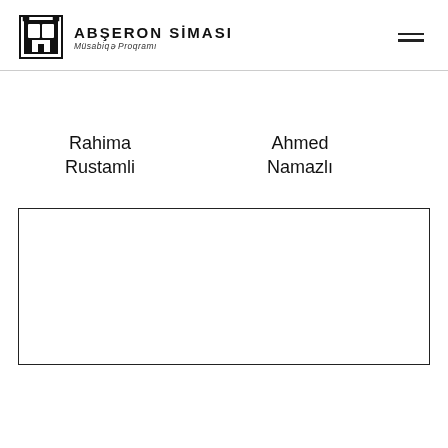ABŞERON SİMASI
Müsabiqə Proqramı
Rahima Rustamli
Ahmed Namazlı
Keyvan Mustafayev
[Figure (other): Empty bordered rectangle content area]